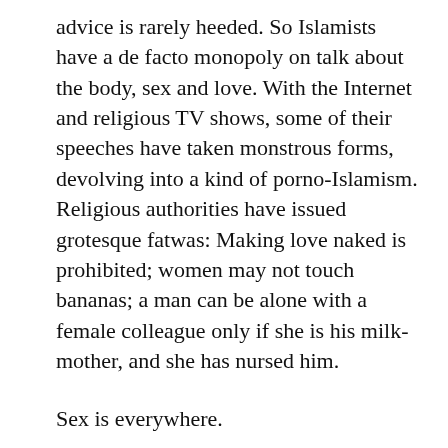advice is rarely heeded. So Islamists have a de facto monopoly on talk about the body, sex and love. With the Internet and religious TV shows, some of their speeches have taken monstrous forms, devolving into a kind of porno-Islamism. Religious authorities have issued grotesque fatwas: Making love naked is prohibited; women may not touch bananas; a man can be alone with a female colleague only if she is his milk-mother, and she has nursed him.
Sex is everywhere.
Especially after death.
Orgasms are acceptable only after marriage — and subject to religious diktats that extinguish desire — or after death. Paradise and its virgins are a pet topic of preachers, who present these otherworldly delights as